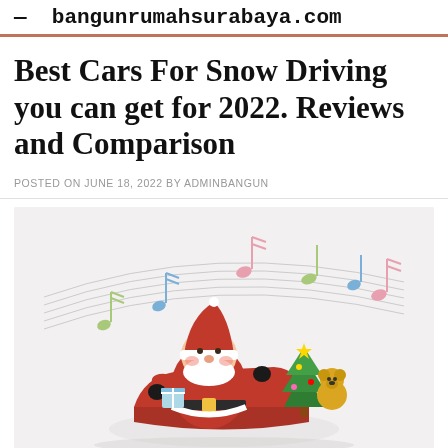— bangunrumahsurabaya.com
Best Cars For Snow Driving you can get for 2022. Reviews and Comparison
POSTED ON JUNE 18, 2022 BY ADMINBANGUN
[Figure (photo): A decorative snow globe or figurine featuring Santa Claus seated in a red sleigh, holding a gift, with a small teddy bear and a green Christmas tree beside him, on a white/light grey background with colorful musical notes and staff lines arcing overhead.]